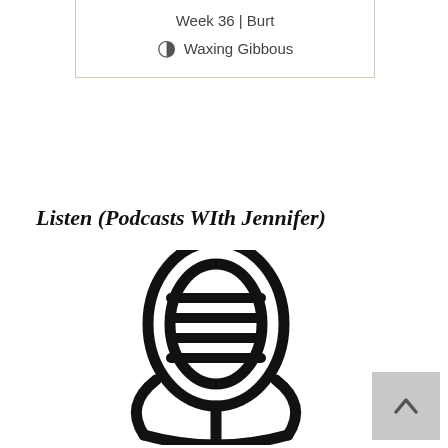Week 36 | Burt
Waxing Gibbous
Listen (Podcasts WIth Jennifer)
[Figure (illustration): A microphone icon — large black outline of a classic podcast/radio microphone with horizontal grille lines, stand arm, and base stem.]
[Figure (illustration): Back-to-top button: gray square with an upward-pointing chevron/caret arrow in dark gray.]